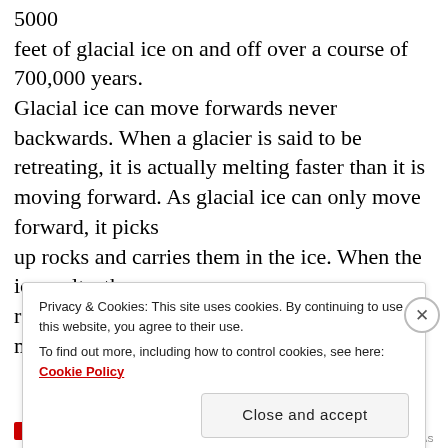5000 feet of glacial ice on and off over a course of 700,000 years. Glacial ice can move forwards never backwards. When a glacier is said to be retreating, it is actually melting faster than it is moving forward. As glacial ice can only move forward, it picks up rocks and carries them in the ice. When the ice melts, these rock particles are dropped at the point of melting. All dropped
Privacy & Cookies: This site uses cookies. By continuing to use this website, you agree to their use. To find out more, including how to control cookies, see here: Cookie Policy
Close and accept